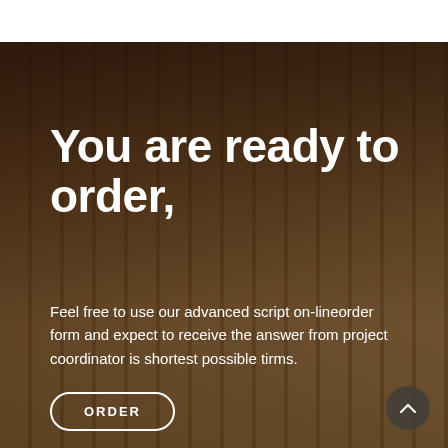You are ready to order,
Feel free to use our advanced script on-lineorder form and expect to receive the answer from project coordinator is shortest possible tirms.
ORDER